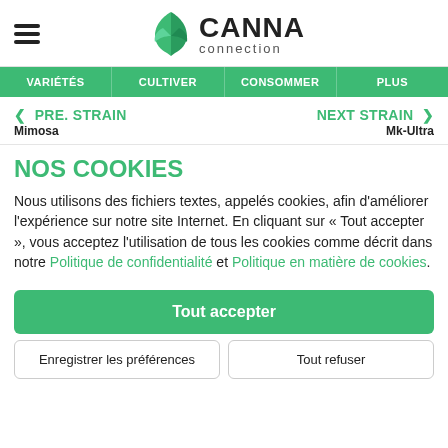CANNA connection
VARIÉTÉS | CULTIVER | CONSOMMER | PLUS
< PRE. STRAIN Mimosa    NEXT STRAIN > Mk-Ultra
NOS COOKIES
Nous utilisons des fichiers textes, appelés cookies, afin d'améliorer l'expérience sur notre site Internet. En cliquant sur « Tout accepter », vous acceptez l'utilisation de tous les cookies comme décrit dans notre Politique de confidentialité et Politique en matière de cookies.
Tout accepter
Enregistrer les préférences    Tout refuser